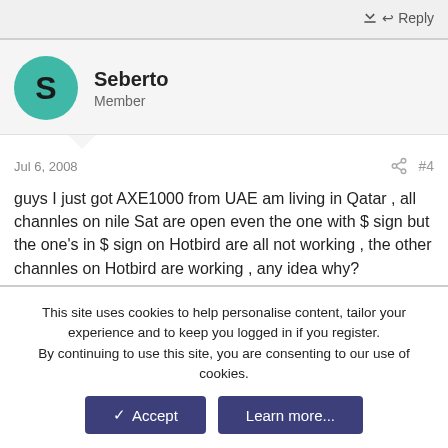Reply
Seberto
Member
Jul 6, 2008
#4
guys I just got AXE1000 from UAE am living in Qatar , all channles on nile Sat are open even the one with $ sign but the one's in $ sign on Hotbird are all not working , the other channles on Hotbird are working , any idea why? appreciate your help
Reply
This site uses cookies to help personalise content, tailor your experience and to keep you logged in if you register.
By continuing to use this site, you are consenting to our use of cookies.
Accept
Learn more...